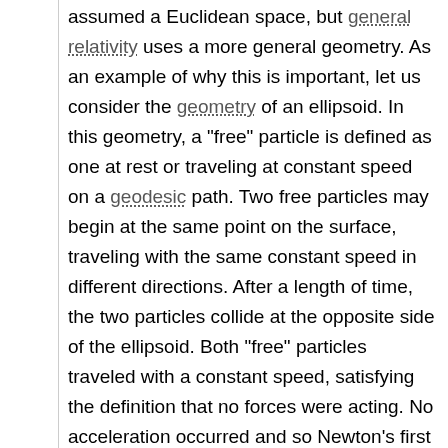assumed a Euclidean space, but general relativity uses a more general geometry. As an example of why this is important, let us consider the geometry of an ellipsoid. In this geometry, a "free" particle is defined as one at rest or traveling at constant speed on a geodesic path. Two free particles may begin at the same point on the surface, traveling with the same constant speed in different directions. After a length of time, the two particles collide at the opposite side of the ellipsoid. Both "free" particles traveled with a constant speed, satisfying the definition that no forces were acting. No acceleration occurred and so Newton's first law held true. This means that the particles were in inertial frames of reference. Since no forces were acting, it was the geometry of the situation which caused the two particles to meet each other again.